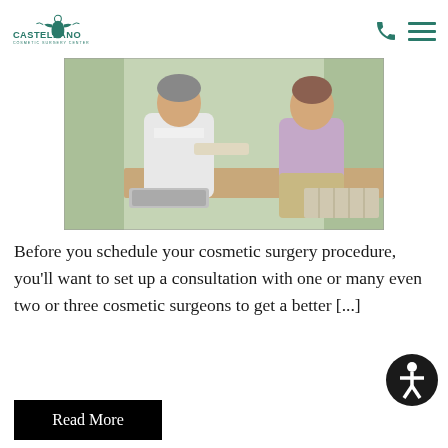Castellano Cosmetic Surgery Center
[Figure (photo): A doctor in a white coat handing documents to a female patient seated in a medical office near a window]
Before you schedule your cosmetic surgery procedure, you'll want to set up a consultation with one or many even two or three cosmetic surgeons to get a better [...]
Read More